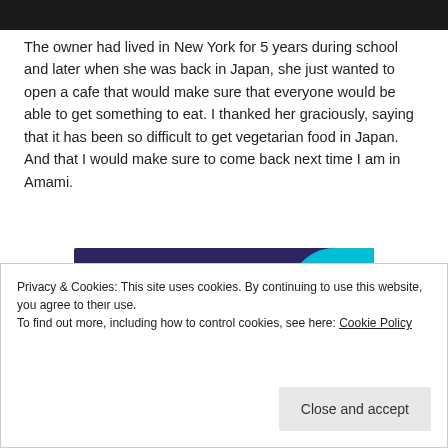[Figure (photo): Dark photo strip at top of page, showing partial image (dark/black tones)]
The owner had lived in New York for 5 years during school and later when she was back in Japan, she just wanted to open a cafe that would make sure that everyone would be able to get something to eat. I thanked her graciously, saying that it has been so difficult to get vegetarian food in Japan. And that I would make sure to come back next time I am in Amami.
[Figure (infographic): Advertisement banner with dark purple background and teal circle graphic on right. Text reads: Turn your hobby into a business in 8 steps]
Privacy & Cookies: This site uses cookies. By continuing to use this website, you agree to their use.
To find out more, including how to control cookies, see here: Cookie Policy